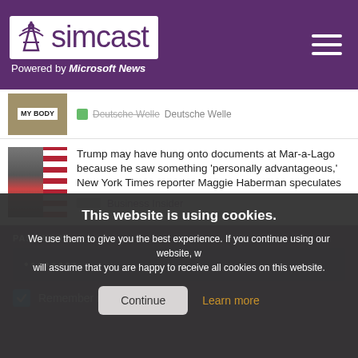[Figure (screenshot): Simcast logo with tower icon on white background, with 'Powered by Microsoft News' text below, and hamburger menu icon on the right, all on purple header background]
Deutsche Welle  Deutsche Welle
Trump may have hung onto documents at Mar-a-Lago because he saw something 'personally advantageous,' New York Times reporter Maggie Haberman speculates
Business Insider
This website is using cookies.
We use them to give you the best experience. If you continue using our website, we will assume that you are happy to receive all cookies on this website.
Continue
Learn more
PASSWORD
••••••••
Remember me